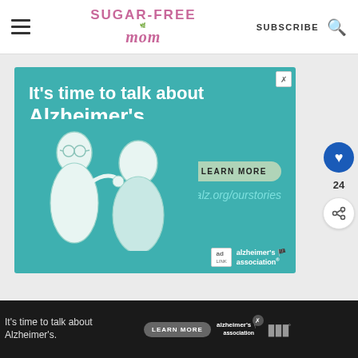Sugar-Free Mom | SUBSCRIBE
[Figure (infographic): Alzheimer's Association advertisement on teal background with illustration of two elderly people. Text: It's time to talk about Alzheimer's. LEARN MORE. alz.org/ourstories. alzheimer's association logo.]
[Figure (infographic): Bottom banner ad: It's time to talk about Alzheimer's. LEARN MORE button. alzheimer's association logo. Close button.]